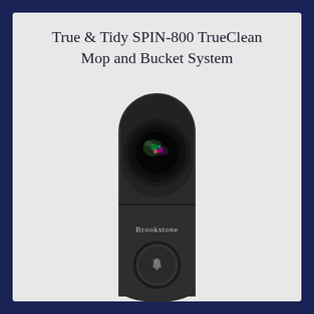True & Tidy SPIN-800 TrueClean Mop and Bucket System
[Figure (photo): Product photo of a Brookstone smart video doorbell camera — black rounded rectangular device with a large wide-angle camera lens on top and a circular doorbell button at the bottom, with 'Brookstone' branding text in the middle section.]